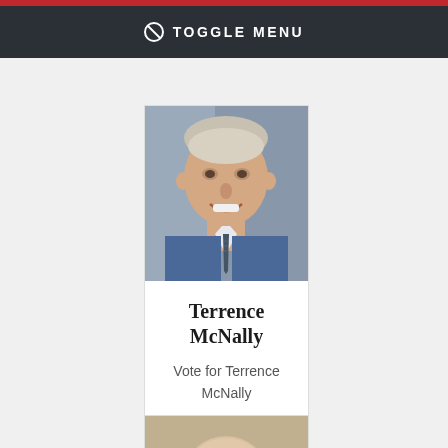⊘ TOGGLE MENU
[Figure (photo): Headshot photo of Terrence McNally, smiling man in blue suit with striped tie]
Terrence McNally
Vote for Terrence McNally
[Figure (photo): Headshot photo of another person, partially visible at bottom of page]